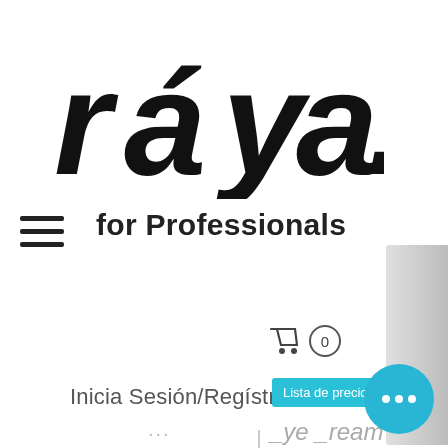[Figure (logo): Raya brand logo in bold black stylized lettering with accent mark, reading 'ráya.']
for Professionals
Inicia Sesión/Regístrate
Lista de precios PDF
Skin Recovery Masque – A creamy, emollient-rich, antioxidant, multi-vitamin treatment mask. Naturally brightens skin complexion and helps reduce visible signs of aging, supply vital nutrients to the skin, and
Under Eye & Neck Cream – Revitalizing and fortifying treatment for the fragile tissues around the eyes and on the neck. Protects from moisture loss and provides nourish...